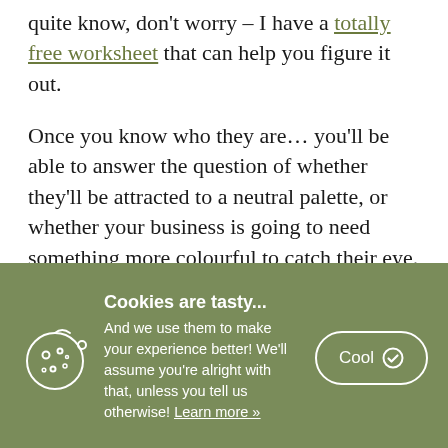quite know, don't worry – I have a totally free worksheet that can help you figure it out.
Once you know who they are... you'll be able to answer the question of whether they'll be attracted to a neutral palette, or whether your business is going to need something more colourful to catch their eye.
Cookies are tasty... And we use them to make your experience better! We'll assume you're alright with that, unless you tell us otherwise! Learn more »